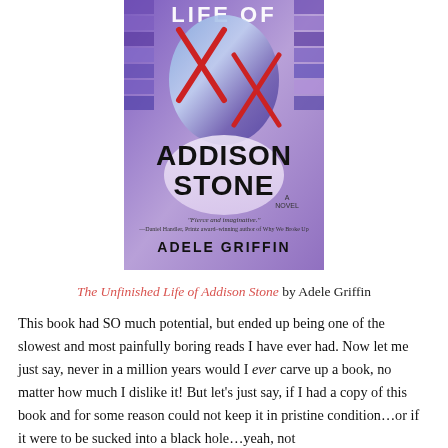[Figure (illustration): Book cover of 'The Unfinished Life of Addison Stone' by Adele Griffin. Shows a girl with blue/purple hair, red X marks, text 'LIFE OF ADDISON STONE A NOVEL', quote from Daniel Handler, and author name ADELE GRIFFIN.]
The Unfinished Life of Addison Stone by Adele Griffin
This book had SO much potential, but ended up being one of the slowest and most painfully boring reads I have ever had. Now let me just say, never in a million years would I ever carve up a book, no matter how much I dislike it! But let’s just say, if I had a copy of this book and for some reason could not keep it in pristine condition…or if it were to be sucked into a black hole…yeah, not